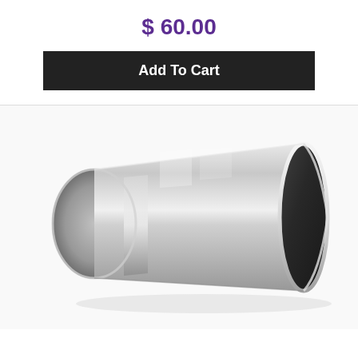$ 60.00
Add To Cart
[Figure (photo): Polished stainless steel exhaust tip with angled cut, showing reflective chrome surface. The tip has a narrower inlet end on the left and a wider angled outlet on the right, photographed at an angle on white background.]